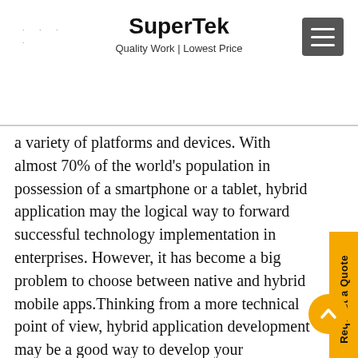SuperTek — Quality Work | Lowest Price
a variety of platforms and devices. With almost 70% of the world's population in possession of a smartphone or a tablet, hybrid application may the logical way to forward successful technology implementation in enterprises. However, it has become a big problem to choose between native and hybrid mobile apps.Thinking from a more technical point of view, hybrid application development may be a good way to develop your applications. Putting the pro's and con's of all the three options, hybrid development seems the perfect choice over the two. It is hard for a common user with no developer background to differentiate between a native app and a hybrid app. What is a hybrid app anyway? In simple terms, a hybrid app is an application that executes partially, not all of it, and